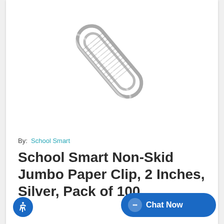[Figure (photo): A single silver jumbo paper clip shown diagonally on a white background]
By:  School Smart
School Smart Non-Skid Jumbo Paper Clip, 2 Inches, Silver, Pack of 100